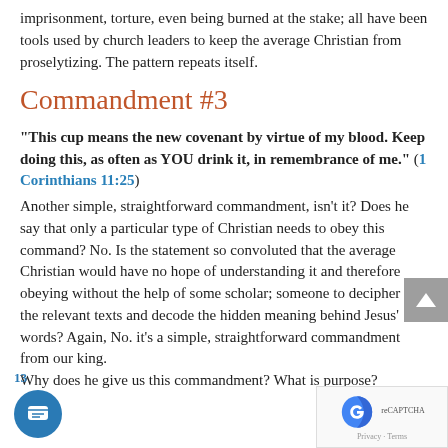imprisonment, torture, even being burned at the stake; all have been tools used by church leaders to keep the average Christian from proselytizing. The pattern repeats itself.
Commandment #3
“This cup means the new covenant by virtue of my blood. Keep doing this, as often as YOU drink it, in remembrance of me.”  (1 Corinthians 11:25)
Another simple, straightforward commandment, isn’t it?  Does he say that only a particular type of Christian needs to obey this command?  No.  Is the statement so convoluted that the average Christian would have no hope of understanding it and therefore obeying without the help of some scholar; someone to decipher all the relevant texts and decode the hidden meaning behind Jesus’ words? Again, No.  it’s a simple, straightforward commandment from our king.
Why does he give us this commandment?  What is purpose?